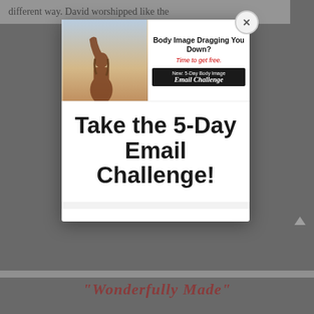different way. David worshipped like the
[Figure (screenshot): Modal popup overlay on a webpage. The modal contains an advertisement banner image showing a person with raised arms against a sky background, with text 'Body Image Dragging You Down? Time to get free. New: 5-Day Body Image Email Challenge', and below it large bold text reading 'Take the 5-Day Email Challenge!'. The modal has a close (x) button in the top-right corner.]
Take the 5-Day Email Challenge!